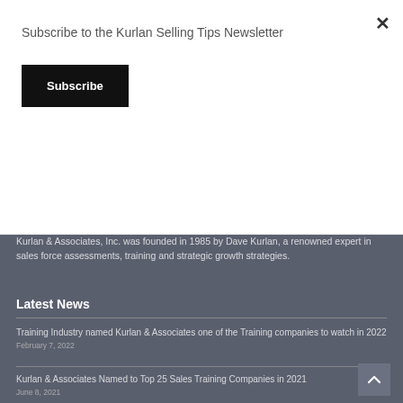Subscribe to the Kurlan Selling Tips Newsletter
Subscribe
[Figure (logo): Kurlan & Associates, Inc. logo in white text on dark grey background]
Kurlan & Associates, Inc. was founded in 1985 by Dave Kurlan, a renowned expert in sales force assessments, training and strategic growth strategies.
Latest News
Training Industry named Kurlan & Associates one of the Training companies to watch in 2022
February 7, 2022
Kurlan & Associates Named to Top 25 Sales Training Companies in 2021
June 8, 2021